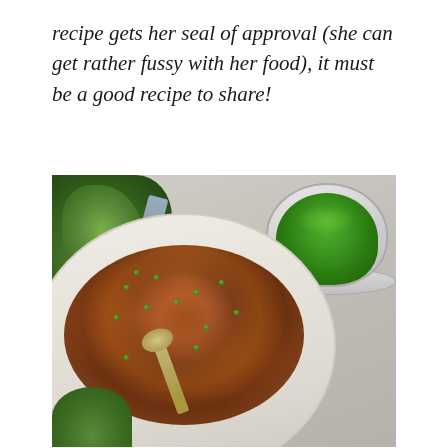recipe gets her seal of approval (she can get rather fussy with her food), it must be a good recipe to share!
[Figure (photo): Overhead shot of a white bowl filled with tomato rice and green peas, served with a spoon. Fresh herbs and a metal colander with bright green peas are visible in the background on a light stone surface.]